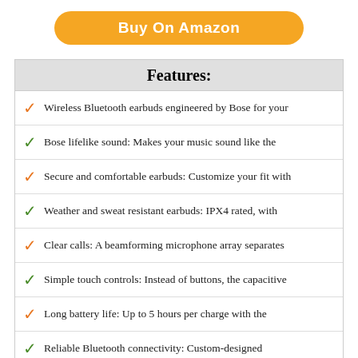[Figure (other): Orange rounded button labeled 'Buy On Amazon']
Features:
Wireless Bluetooth earbuds engineered by Bose for your
Bose lifelike sound: Makes your music sound like the
Secure and comfortable earbuds: Customize your fit with
Weather and sweat resistant earbuds: IPX4 rated, with
Clear calls: A beamforming microphone array separates
Simple touch controls: Instead of buttons, the capacitive
Long battery life: Up to 5 hours per charge with the
Reliable Bluetooth connectivity: Custom-designed
Bose Music app: Start by downloading the app and
9. TOZO T10 BLUETOOTH 5.0 WIRELESS EARBUDS WITH WIRELESS CHARGING CASE IPX8 WATERPROOF STEREO